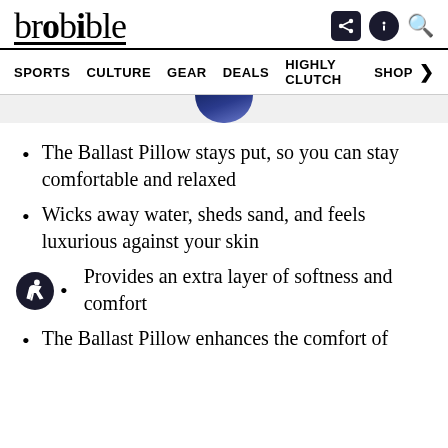brobible
SPORTS  CULTURE  GEAR  DEALS  HIGHLY CLUTCH  SHOP
The Ballast Pillow stays put, so you can stay comfortable and relaxed
Wicks away water, sheds sand, and feels luxurious against your skin
Provides an extra layer of softness and comfort
The Ballast Pillow enhances the comfort of...